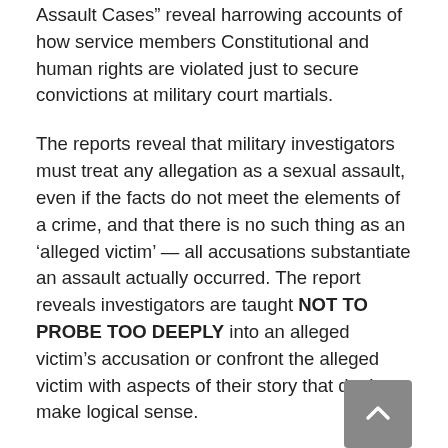Assault Cases” reveal harrowing accounts of how service members Constitutional and human rights are violated just to secure convictions at military court martials.
The reports reveal that military investigators must treat any allegation as a sexual assault, even if the facts do not meet the elements of a crime, and that there is no such thing as an ‘alleged victim’ — all accusations substantiate an assault actually occurred. The report reveals investigators are taught NOT TO PROBE TOO DEEPLY into an alleged victim’s accusation or confront the alleged victim with aspects of their story that don’t make logical sense.
The report even reveals alleged victims are allowed to avoid turning over potentially exculpatory evidence stored in cell phones to investigators that could clear the name of the accused. The report finally concludes that the military is less concerned with the merits of the case than the alleged victim’s preference of wanting to be brought to trial...